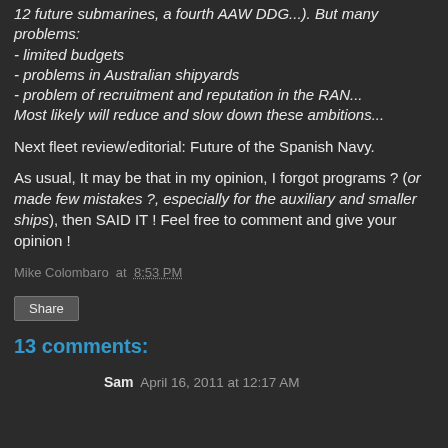12 future submarines, a fourth AAW DDG...). But many problems:
- limited budgets
- problems in Australian shipyards
- problem of recruitment and reputation in the RAN...
Most likely will reduce and slow down these ambitions...
Next fleet review/editorial: Future of the Spanish Navy.
As usual, It may be that in my opinion, I forgot programs ? (or made few mistakes ?, especially for the auxiliary and smaller ships), then SAID IT ! Feel free to comment and give your opinion !
Mike Colombaro at 8:53 PM
Share
13 comments:
Sam April 16, 2011 at 12:17 AM